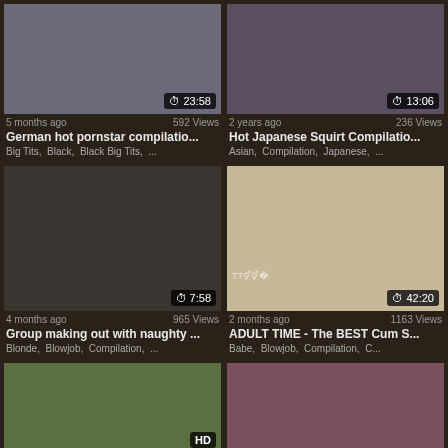[Figure (screenshot): Video thumbnail 1 - duration 23:58]
5 months ago   592 Views
German hot pornstar compilatio...
Big Tits,  Black,  Black Big Tits,  ...
[Figure (screenshot): Video thumbnail 2 - duration 13:06]
2 years ago   236 Views
Hot Japanese Squirt Compilatio...
Asian,  Compilation,  Japanese,  ...
[Figure (screenshot): Video thumbnail 3 - duration 7:58]
4 months ago   965 Views
Group making out with naughty ...
Blonde,  Blowjob,  Compilation,  ...
[Figure (screenshot): Video thumbnail 4 - duration 42:20]
2 months ago   1163 Views
ADULT TIME - The BEST Cum S...
Babe,  Blowjob,  Compilation,  C...
[Figure (photo): Video thumbnail 5 - HD badge]
[Figure (photo): Video thumbnail 6 - partial]